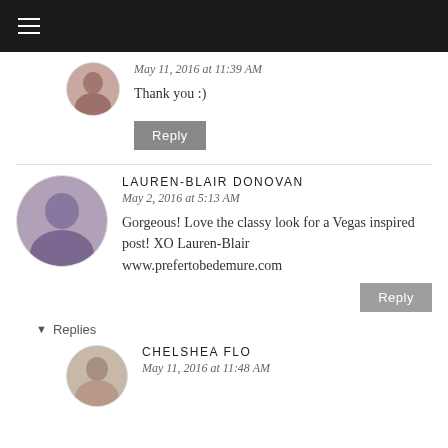May 11, 2016 at 11:39 AM
Thank you :)
Reply
LAUREN-BLAIR DONOVAN
May 2, 2016 at 5:13 AM
Gorgeous! Love the classy look for a Vegas inspired post! XO Lauren-Blair www.prefertobedemure.com
Reply
Replies
CHELSHEA FLO
May 11, 2016 at 11:48 AM